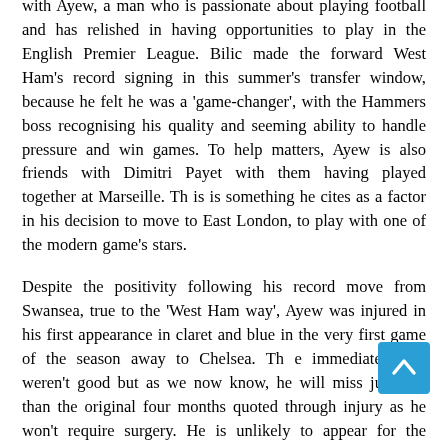with Ayew, a man who is passionate about playing football and has relished in having opportunities to play in the English Premier League. Bilic made the forward West Ham's record signing in this summer's transfer window, because he felt he was a 'game-changer', with the Hammers boss recognising his quality and seeming ability to handle pressure and win games. To help matters, Ayew is also friends with Dimitri Payet with them having played together at Marseille. Th is is something he cites as a factor in his decision to move to East London, to play with one of the modern game's stars.
Despite the positivity following his record move from Swansea, true to the 'West Ham way', Ayew was injured in his first appearance in claret and blue in the very first game of the season away to Chelsea. Th e immediate signs weren't good but as we now know, he will miss just less than the original four months quoted through injury as he won't require surgery. He is unlikely to appear for the Hammers, before December when he will have completed his rehabilitation programme. However, if a call up to the Africa Cup of Nations is on the cards, which it probably is, he'll be missing again in January.